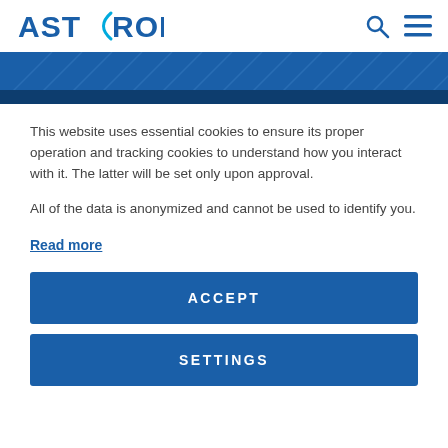ASTRON
[Figure (illustration): Dark blue banner with diagonal line pattern overlay, resembling a radio telescope or wave pattern in a dark blue band]
This website uses essential cookies to ensure its proper operation and tracking cookies to understand how you interact with it. The latter will be set only upon approval.
All of the data is anonymized and cannot be used to identify you.
Read more
ACCEPT
SETTINGS